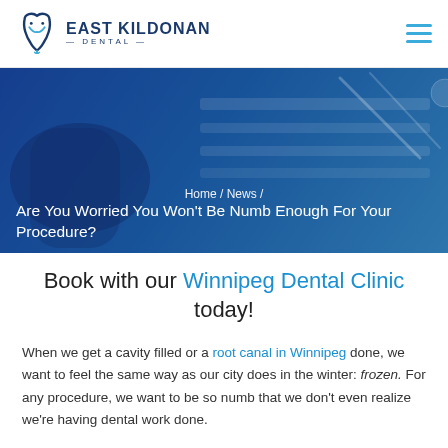East Kildonan Dental — navigation header with logo and hamburger menu
[Figure (photo): Hero banner with blue gradient overlay showing dental chair and instruments in background]
Home / News /
Are You Worried You Won't Be Numb Enough For Your Procedure?
Book with our Winnipeg Dental Clinic today!
When we get a cavity filled or a root canal in Winnipeg done, we want to feel the same way as our city does in the winter: frozen. For any procedure, we want to be so numb that we don't even realize we're having dental work done.
If you were to write a list of the most popular dental fears, here's